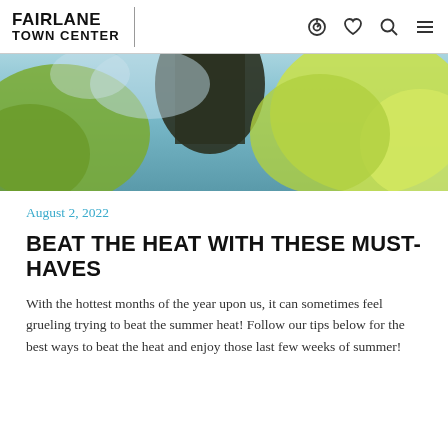FAIRLANE TOWN CENTER
[Figure (photo): Outdoor nature photo with blurred background showing blue sky, dark silhouetted shape, and green/yellow foliage — hero image for a summer article.]
August 2, 2022
BEAT THE HEAT WITH THESE MUST-HAVES
With the hottest months of the year upon us, it can sometimes feel grueling trying to beat the summer heat! Follow our tips below for the best ways to beat the heat and enjoy those last few weeks of summer!